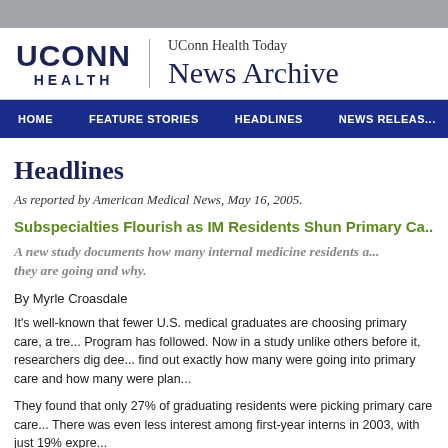[Figure (logo): UConn Health logo with UCONN in large bold text and HEALTH below in smaller spaced caps, next to site title 'UConn Health Today News Archive']
HOME   FEATURE STORIES   HEADLINES   NEWS RELEASES
Headlines
As reported by American Medical News, May 16, 2005.
Subspecialties Flourish as IM Residents Shun Primary Ca...
A new study documents how many internal medicine residents a... they are going and why.
By Myrle Croasdale
It's well-known that fewer U.S. medical graduates are choosing primary care, a tre... Program has followed. Now in a study unlike others before it, researchers dig dee... find out exactly how many were going into primary care and how many were plan...
They found that only 27% of graduating residents were picking primary care care... There was even less interest among first-year interns in 2003, with just 19% expre...